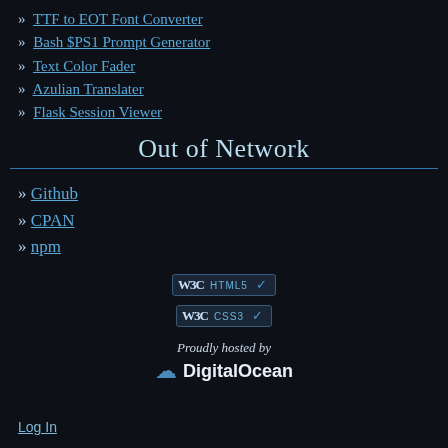» TTF to EOT Font Converter
» Bash $PS1 Prompt Generator
» Text Color Fader
» Azulian Translater
» Flask Session Viewer
Out of Network
» Github
» CPAN
» npm
[Figure (logo): W3C HTML5 validation badge]
[Figure (logo): W3C CSS3 validation badge]
[Figure (logo): Proudly hosted by DigitalOcean logo]
Log In